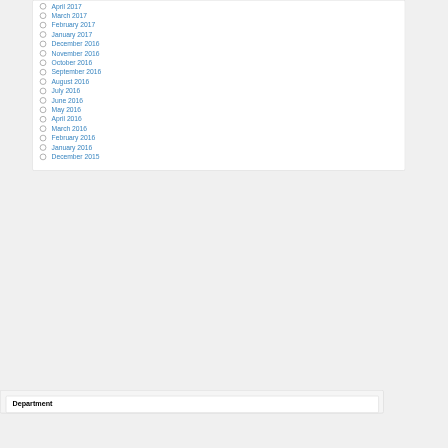April 2017
March 2017
February 2017
January 2017
December 2016
November 2016
October 2016
September 2016
August 2016
July 2016
June 2016
May 2016
April 2016
March 2016
February 2016
January 2016
December 2015
Department